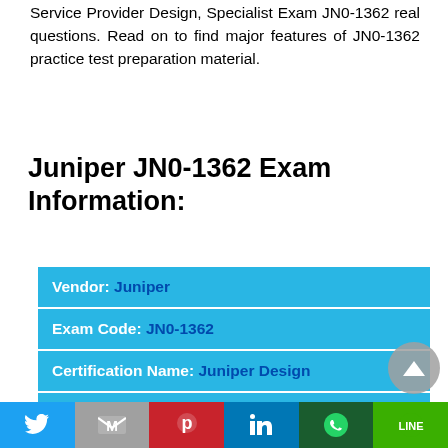Service Provider Design, Specialist Exam JN0-1362 real questions. Read on to find major features of JN0-1362 practice test preparation material.
Juniper JN0-1362 Exam Information:
| Vendor: | Juniper |
| Exam Code: | JN0-1362 |
| Certification Name: | Juniper Design |
| Exam Name: | Service Provider Design, |
[Figure (other): Social media share bar with Twitter, Gmail, Pinterest, LinkedIn, WhatsApp, and Line buttons at the bottom of the page]